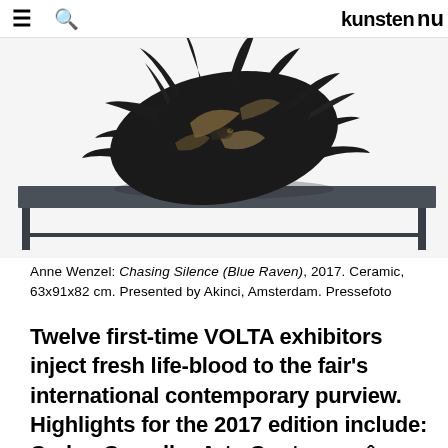≡  🔍  kunsten nu
[Figure (photo): A dark ceramic sculpture resembling a raven or bird form, placed on a low dark metal table against a white background.]
Anne Wenzel: Chasing Silence (Blue Raven), 2017. Ceramic, 63x91x82 cm. Presented by Akinci, Amsterdam. Pressefoto
Twelve first-time VOLTA exhibitors inject fresh life-blood to the fair's international contemporary purview. Highlights for the 2017 edition include: Carlos Carvalho Arte Contemporânea (Lisbon), channeling its photography-focused program into three artists